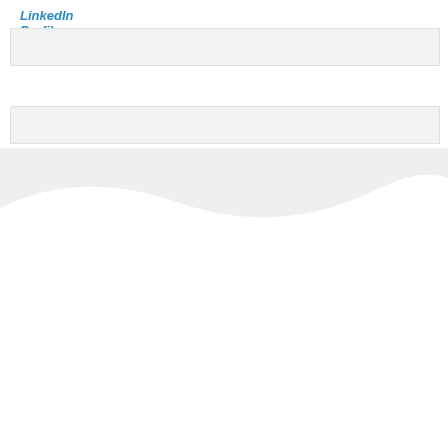LinkedIn Profile
<RETURN TO INCENTIVE GRANTS PAGE
Navigate
NEWSLETTERS
IMPACT
APPROACH
OUR WORK
WHAT YOU CAN DO